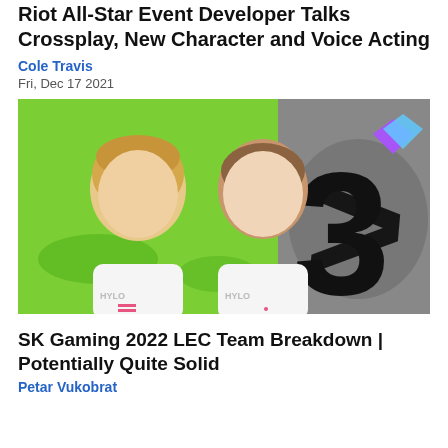Riot All-Star Event Developer Talks Crossplay, New Character and Voice Acting
Cole Travis
Fri, Dec 17 2021
[Figure (photo): Two esports players in white HYLO jerseys posing against a green and grey background with a large stylized SK Gaming logo]
SK Gaming 2022 LEC Team Breakdown | Potentially Quite Solid
Petar Vukobrat